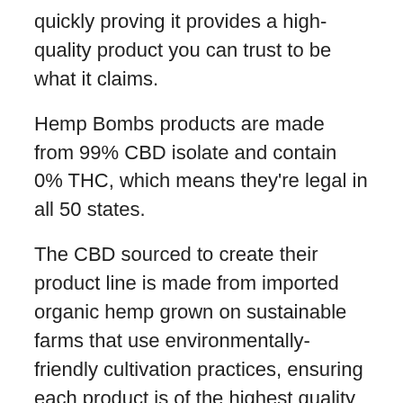quickly proving it provides a high-quality product you can trust to be what it claims.
Hemp Bombs products are made from 99% CBD isolate and contain 0% THC, which means they're legal in all 50 states.
The CBD sourced to create their product line is made from imported organic hemp grown on sustainable farms that use environmentally-friendly cultivation practices, ensuring each product is of the highest quality possible.
Hemp Bombs heard your desires for domestically sourced hemp.
We got intel from their team that they're planning to transition to American hemp in the